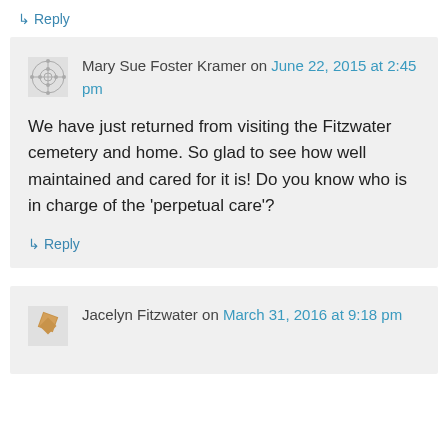↳ Reply
Mary Sue Foster Kramer on June 22, 2015 at 2:45 pm
We have just returned from visiting the Fitzwater cemetery and home. So glad to see how well maintained and cared for it is! Do you know who is in charge of the 'perpetual care'?
↳ Reply
Jacelyn Fitzwater on March 31, 2016 at 9:18 pm